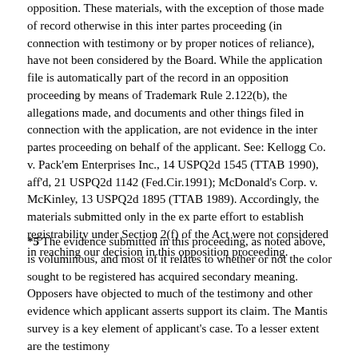opposition. These materials, with the exception of those made of record otherwise in this inter partes proceeding (in connection with testimony or by proper notices of reliance), have not been considered by the Board. While the application file is automatically part of the record in an opposition proceeding by means of Trademark Rule 2.122(b), the allegations made, and documents and other things filed in connection with the application, are not evidence in the inter partes proceeding on behalf of the applicant. See: Kellogg Co. v. Pack'em Enterprises Inc., 14 USPQ2d 1545 (TTAB 1990), aff'd, 21 USPQ2d 1142 (Fed.Cir.1991); McDonald's Corp. v. McKinley, 13 USPQ2d 1895 (TTAB 1989). Accordingly, the materials submitted only in the ex parte effort to establish registrability under Section 2(f) of the Act were not considered in reaching our decision in this opposition proceeding.
*5 The evidence submitted in this proceeding, as noted above, is voluminous, and most of it relates to whether or not the color sought to be registered has acquired secondary meaning. Opposers have objected to much of the testimony and other evidence which applicant asserts support its claim. The Mantis survey is a key element of applicant's case. To a lesser extent are the testimony